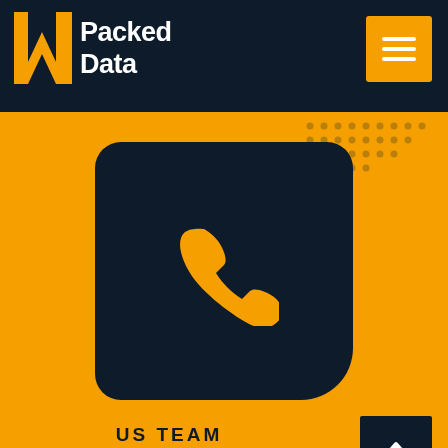[Figure (logo): Packed Data logo with orange W-shape icon and white bold text reading 'Packed Data' on dark navy header bar]
[Figure (illustration): Dark navy rounded-rectangle box containing an orange telephone handset icon]
US TEAM
+1 408-849-4403